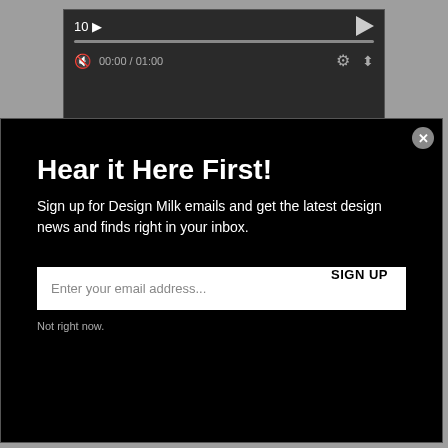[Figure (screenshot): Video player interface showing time 00:00 / 01:00 with progress bar and controls including mute, settings, and fullscreen icons]
[Figure (screenshot): Email newsletter signup modal overlay on dark background with title 'Hear it Here First!', subtitle text, email input field, SIGN UP button, and 'Not right now.' link]
Hear it Here First!
Sign up for Design Milk emails and get the latest design news and finds right in your inbox.
Enter your email address...
SIGN UP
Not right now.
[Figure (photo): Partial image showing colorful enameled copper centerpieces with text 'Centerpieces in enameled copper.' on dark background]